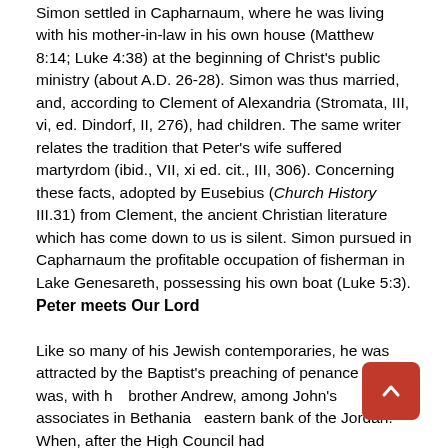Simon settled in Capharnaum, where he was living with his mother-in-law in his own house (Matthew 8:14; Luke 4:38) at the beginning of Christ's public ministry (about A.D. 26-28). Simon was thus married, and, according to Clement of Alexandria (Stromata, III, vi, ed. Dindorf, II, 276), had children. The same writer relates the tradition that Peter's wife suffered martyrdom (ibid., VII, xi ed. cit., III, 306). Concerning these facts, adopted by Eusebius (Church History III.31) from Clement, the ancient Christian literature which has come down to us is silent. Simon pursued in Capharnaum the profitable occupation of fisherman in Lake Genesareth, possessing his own boat (Luke 5:3).
Peter meets Our Lord
Like so many of his Jewish contemporaries, he was attracted by the Baptist's preaching of penance and was, with his brother Andrew, among John's associates in Bethania eastern bank of the Jordan. When, after the High Council had